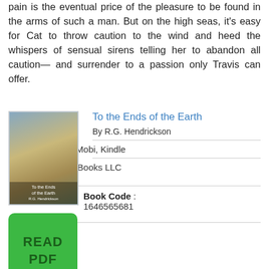pain is the eventual price of the pleasure to be found in the arms of such a man. But on the high seas, it's easy for Cat to throw caution to the wind and heed the whispers of sensual sirens telling her to abandon all caution— and surrender to a passion only Travis can offer.
To the Ends of the Earth
By R.G. Hendrickson
[Figure (illustration): Book cover of 'To the Ends of the Earth' showing a scenic landscape with light rays, and a green READ PDF button below]
File : Pdf, ePub, Mobi, Kindle
Publisher : JMS Books LLC
Book Code : 1646565681